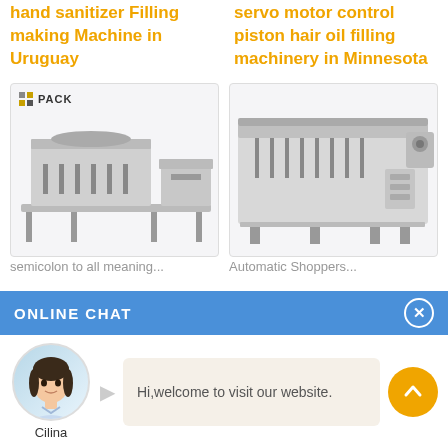hand sanitizer Filling making Machine in Uruguay
servo motor control piston hair oil filling machinery in Minnesota
[Figure (photo): Industrial filling machine with multiple nozzles and conveyor belt system, with brown bottles, NNPACK logo in top left corner]
[Figure (photo): Automatic stainless steel piston filling machine with multiple heads]
semicolon to all meaning...
Automatic Shoppers...
ONLINE CHAT
[Figure (photo): Female customer service avatar named Cilina]
Cilina
Hi,welcome to visit our website.